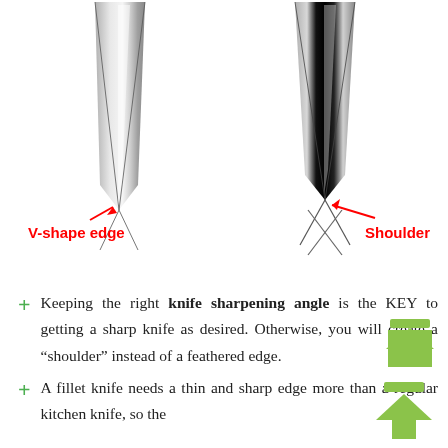[Figure (illustration): Two knife edge cross-sections side by side. Left shows a V-shape edge (pointed, clean taper) with a red arrow pointing to the tip labeled 'V-shape edge'. Right shows a knife with a 'Shoulder' — a cross-shaped profile where the blade has been sharpened past the apex — with a red arrow pointing to the shoulder area labeled 'Shoulder'.]
Keeping the right knife sharpening angle is the KEY to getting a sharp knife as desired. Otherwise, you will create a "shoulder" instead of a feathered edge.
A fillet knife needs a thin and sharp edge more than a regular kitchen knife, so the